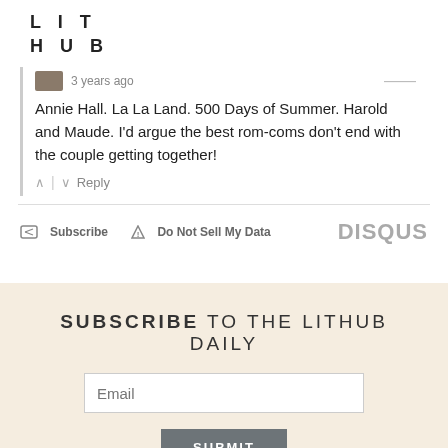LIT HUB
Annie Hall. La La Land. 500 Days of Summer. Harold and Maude. I'd argue the best rom-coms don't end with the couple getting together!
Subscribe  Do Not Sell My Data  DISQUS
SUBSCRIBE TO THE LITHUB DAILY
Email
SUBMIT